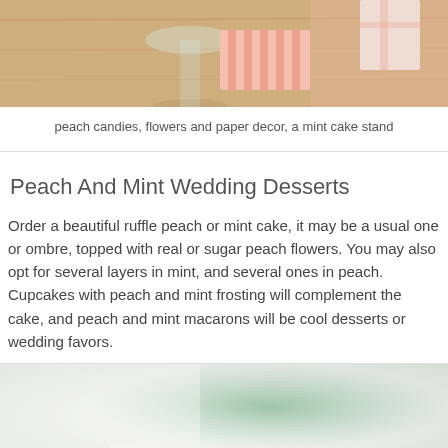[Figure (photo): Top portion of a photo showing a table setting with a glass, striped pink and white paper, and a peach/pink background with decorative items.]
peach candies, flowers and paper decor, a mint cake stand
Peach And Mint Wedding Desserts
Order a beautiful ruffle peach or mint cake, it may be a usual one or ombre, topped with real or sugar peach flowers. You may also opt for several layers in mint, and several ones in peach. Cupcakes with peach and mint frosting will complement the cake, and peach and mint macarons will be cool desserts or wedding favors.
[Figure (photo): Bottom photo showing a blurred light gray and mint/green background with a white cake or dessert stand, partially visible.]